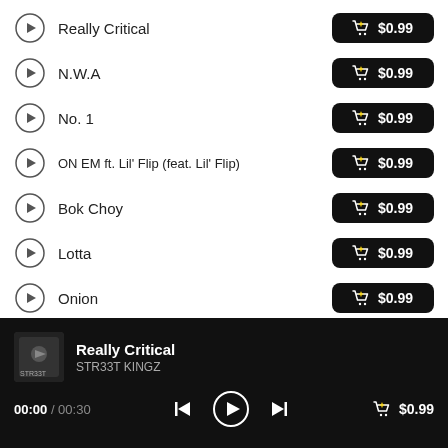Really Critical — $0.99
N.W.A — $0.99
No. 1 — $0.99
ON EM ft. Lil' Flip (feat. Lil' Flip) — $0.99
Bok Choy — $0.99
Lotta — $0.99
Onion — $0.99
Really Critical | STR33T KINGZ | 00:00 / 00:30 | $0.99